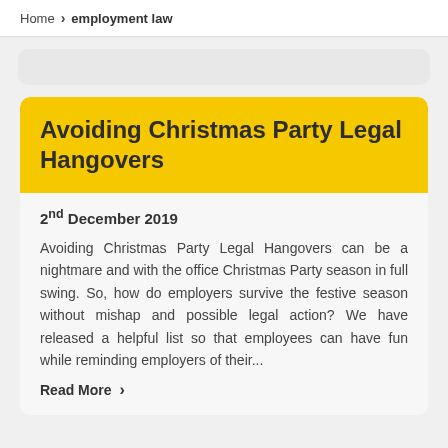Home > employment law
Avoiding Christmas Party Legal Hangovers
2nd December 2019
Avoiding Christmas Party Legal Hangovers can be a nightmare and with the office Christmas Party season in full swing.  So, how do employers survive the festive season without mishap and possible legal action? We have released a helpful list so that employees can have fun while reminding employers of their...
Read More →